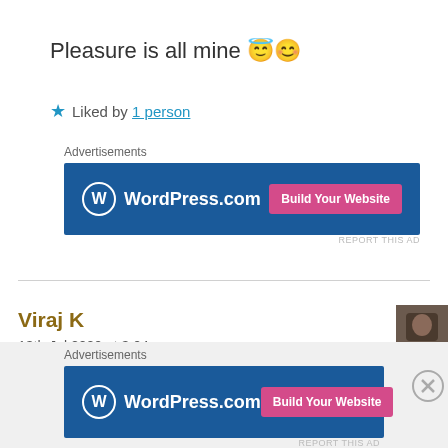Pleasure is all mine 😇😊
★ Liked by 1 person
Advertisements
[Figure (screenshot): WordPress.com advertisement banner with 'Build Your Website' button on blue background]
REPORT THIS AD
Viraj K
13th Jul 2020 at 3:04 am
[Figure (photo): User avatar photo of commenter Viraj K]
It's beautifully written, I remembered my experiences
Advertisements
[Figure (screenshot): WordPress.com advertisement banner with 'Build Your Website' button on blue background]
REPORT THIS AD